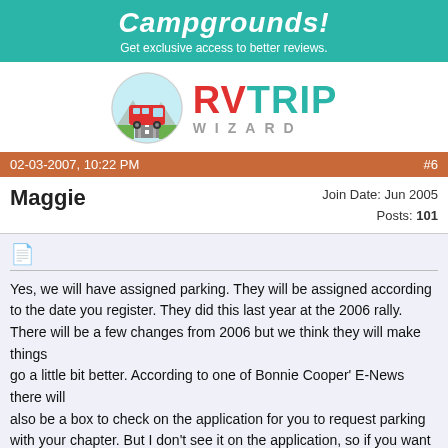[Figure (illustration): Teal banner with italic bold text 'Campgrounds!' and subtitle 'Get exclusive access to better reviews.']
[Figure (logo): RV Trip Wizard logo: circular icon with red RV bus and mountains, next to bold text 'RVTRIP WIZARD']
02-03-2007, 10:22 PM   #6
Maggie
Join Date: Jun 2005
Posts: 101
Yes, we will have assigned parking. They will be assigned according to the date you register. They did this last year at the 2006 rally. There will be a few changes from 2006 but we think they will make things go a little bit better. According to one of Bonnie Cooper' E-News there will also be a box to check on the application for you to request parking with your chapter. But I don't see it on the application, so if you want to park with your chapter you may want to call.